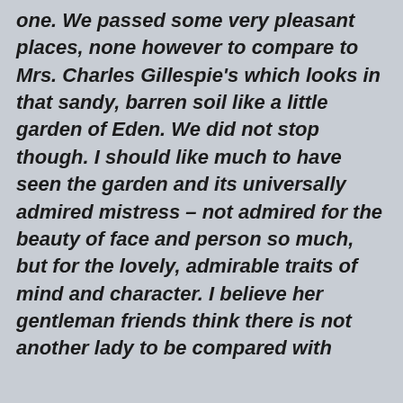one. We passed some very pleasant places, none however to compare to Mrs. Charles Gillespie's which looks in that sandy, barren soil like a little garden of Eden. We did not stop though. I should like much to have seen the garden and its universally admired mistress – not admired for the beauty of face and person so much, but for the lovely, admirable traits of mind and character. I believe her gentleman friends think there is not another lady to be compared with